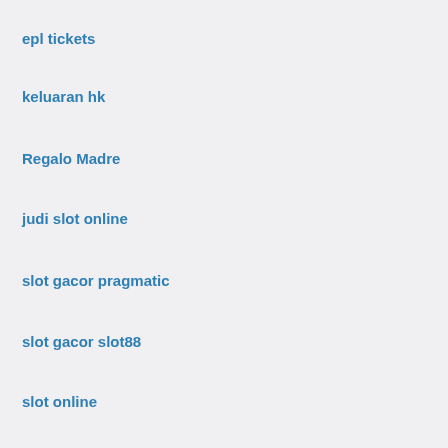epl tickets
keluaran hk
Regalo Madre
judi slot online
slot gacor pragmatic
slot gacor slot88
slot online